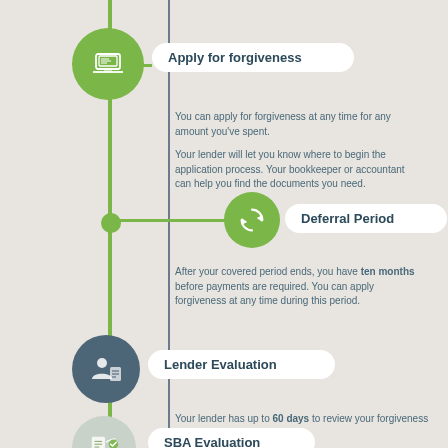[Figure (infographic): Flowchart infographic showing steps in PPP loan forgiveness process. Steps shown: Apply for forgiveness (green circle with laptop icon), Deferral Period (green circle with refresh icon), Lender Evaluation (dark gray circle with person/document icon), SBA Evaluation (light gray circle with documents icon). Connected by vertical green and gray lines with horizontal connectors to white rounded rectangle label boxes.]
Apply for forgiveness
You can apply for forgiveness at any time for any amount you've spent.
Your lender will let you know where to begin the application process. Your bookkeeper or accountant can help you find the documents you need.
Deferral Period
After your covered period ends, you have ten months before payments are required. You can apply forgiveness at any time during this period.
Lender Evaluation
Your lender has up to 60 days to review your forgiveness application.
You may be fully or partially approved for forgiveness, or denied altogether.
SBA Evaluation